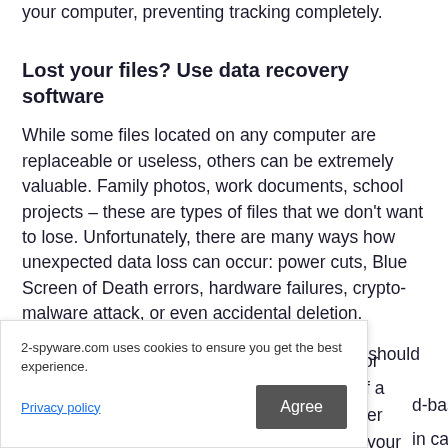your computer, preventing tracking completely.
Lost your files? Use data recovery software
While some files located on any computer are replaceable or useless, others can be extremely valuable. Family photos, work documents, school projects – these are types of files that we don't want to lose. Unfortunately, there are many ways how unexpected data loss can occur: power cuts, Blue Screen of Death errors, hardware failures, crypto-malware attack, or even accidental deletion.
To ensure that all the files remain intact, you should prepare
d-based or
in case of a
r you never
o can be your
2-spyware.com uses cookies to ensure you get the best experience. Privacy policy [Agree]